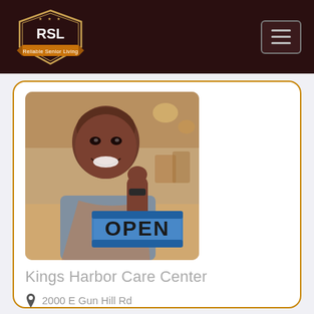RSL Reliable Senior Living
[Figure (photo): Smiling elderly man holding an OPEN sign in what appears to be a shop]
Kings Harbor Care Center
2000 E Gun Hill Rd